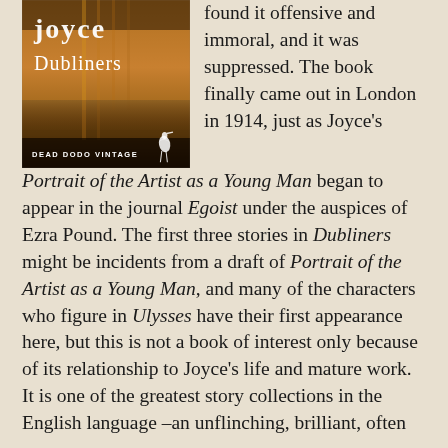[Figure (illustration): Book cover of 'Dubliners' by Joyce, published by Dead Dodo Vintage. Dark amber/orange toned cover with 'joyce' in large letters at top, 'Dubliners' below, and a heron/bird logo at bottom right. Text 'DEAD DODO VINTAGE' at bottom left.]
found it offensive and immoral, and it was suppressed. The book finally came out in London in 1914, just as Joyce's Portrait of the Artist as a Young Man began to appear in the journal Egoist under the auspices of Ezra Pound. The first three stories in Dubliners might be incidents from a draft of Portrait of the Artist as a Young Man, and many of the characters who figure in Ulysses have their first appearance here, but this is not a book of interest only because of its relationship to Joyce's life and mature work. It is one of the greatest story collections in the English language –an unflinching, brilliant, often